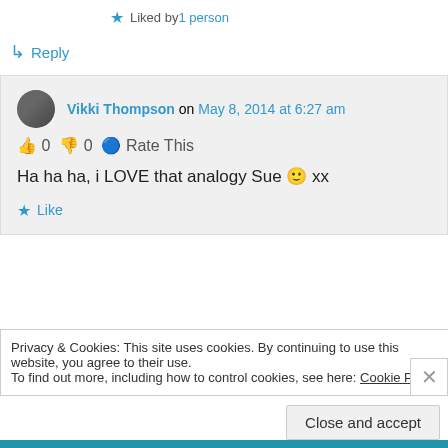Liked by 1 person
↳ Reply
Vikki Thompson on May 8, 2014 at 6:27 am
👍 0 👎 0 ℹ Rate This
Ha ha ha, i LOVE that analogy Sue 🙂 xx
★ Like
Privacy & Cookies: This site uses cookies. By continuing to use this website, you agree to their use.
To find out more, including how to control cookies, see here: Cookie Policy
Close and accept